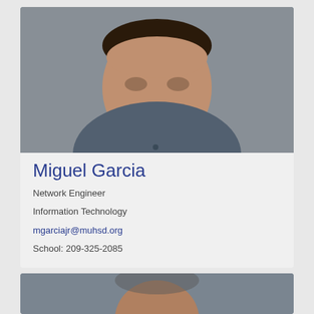[Figure (photo): Headshot photo of Miguel Garcia, a man wearing a dark grey polo shirt, photographed against a grey background, cropped to show face and upper chest.]
Miguel Garcia
Network Engineer
Information Technology
mgarciajr@muhsd.org
School: 209-325-2085
[Figure (photo): Partial view of a second person's headshot photo, cropped at the bottom of the page.]